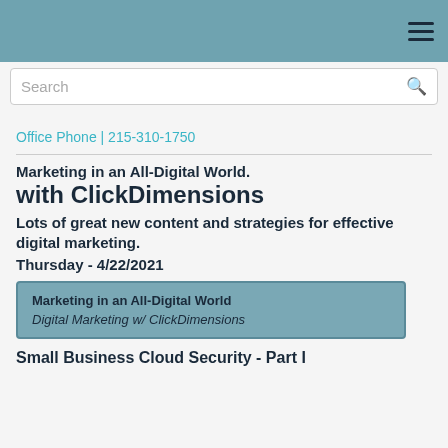Navigation header with hamburger menu icon
Search
Office Phone | 215-310-1750
Marketing in an All-Digital World.
with ClickDimensions
Lots of great new content and strategies for effective digital marketing.
Thursday - 4/22/2021
Marketing in an All-Digital World
Digital Marketing w/ ClickDimensions
Small Business Cloud Security - Part I